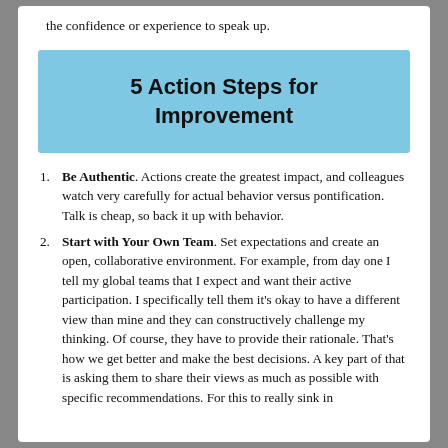the confidence or experience to speak up.
5 Action Steps for Improvement
Be Authentic. Actions create the greatest impact, and colleagues watch very carefully for actual behavior versus pontification. Talk is cheap, so back it up with behavior.
Start with Your Own Team. Set expectations and create an open, collaborative environment. For example, from day one I tell my global teams that I expect and want their active participation. I specifically tell them it's okay to have a different view than mine and they can constructively challenge my thinking. Of course, they have to provide their rationale. That's how we get better and make the best decisions. A key part of that is asking them to share their views as much as possible with specific recommendations. For this to really sink in